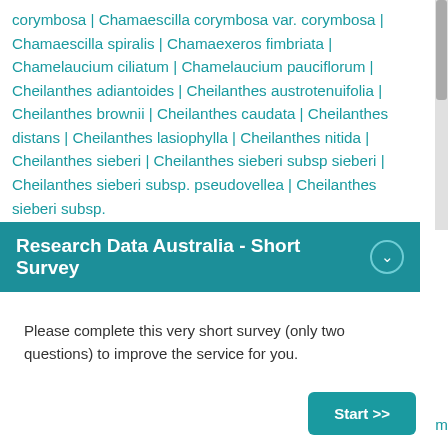corymbosa | Chamaescilla corymbosa var. corymbosa | Chamaescilla spiralis | Chamaexeros fimbriata | Chamelaucium ciliatum | Chamelaucium pauciflorum | Cheilanthes adiantoides | Cheilanthes austrotenuifolia | Cheilanthes brownii | Cheilanthes caudata | Cheilanthes distans | Cheilanthes lasiophylla | Cheilanthes nitida | Cheilanthes sieberi | Cheilanthes sieberi subsp sieberi | Cheilanthes sieberi subsp. pseudovellea | Cheilanthes sieberi subsp.
Research Data Australia - Short Survey
Please complete this very short survey (only two questions) to improve the service for you.